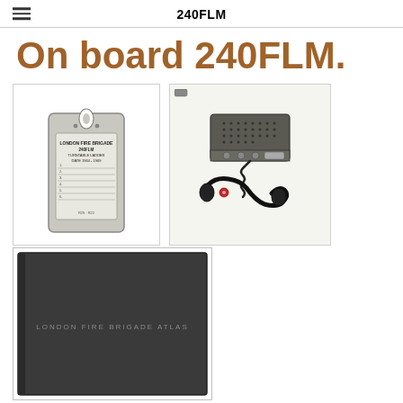240FLM
On board 240FLM.
[Figure (photo): London Fire Brigade 240FLM Turntable Ladder nominal roll board — a paddle-shaped metal tag with printed form fields]
[Figure (photo): Vintage fire brigade radio/telephone device with handset and coiled cord]
[Figure (photo): Dark grey hardcover book labeled LONDON FIRE BRIGADE ATLAS]
The appliance " Nominal Roll Board". (on the left) A vital item